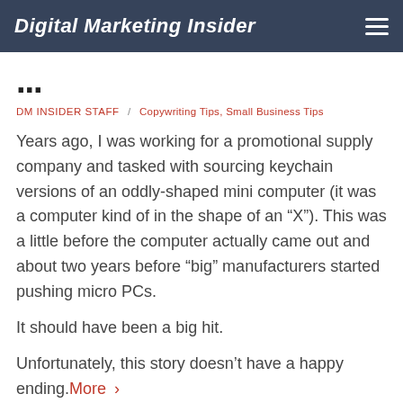Digital Marketing Insider
...g...
DM INSIDER STAFF / Copywriting Tips, Small Business Tips
Years ago, I was working for a promotional supply company and tasked with sourcing keychain versions of an oddly-shaped mini computer (it was a computer kind of in the shape of an “X”). This was a little before the computer actually came out and about two years before “big” manufacturers started pushing micro PCs.
It should have been a big hit.
Unfortunately, this story doesn’t have a happy ending. More ›